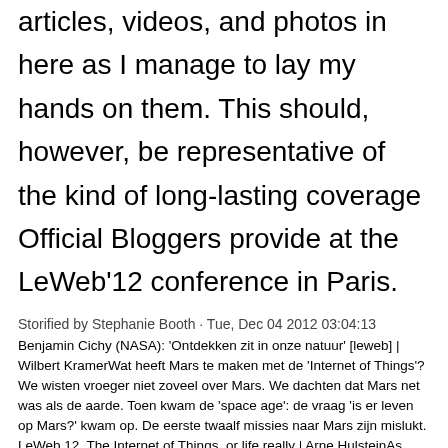articles, videos, and photos in here as I manage to lay my hands on them. This should, however, be representative of the kind of long-lasting coverage Official Bloggers provide at the LeWeb'12 conference in Paris.
Storified by Stephanie Booth · Tue, Dec 04 2012 03:04:13
Benjamin Cichy (NASA): 'Ontdekken zit in onze natuur' [leweb] | Wilbert KramerWat heeft Mars te maken met de 'Internet of Things'? We wisten vroeger niet zoveel over Mars. We dachten dat Mars net was als de aarde. Toen kwam de 'space age': de vraag 'is er leven op Mars?' kwam op. De eerste twaalf missies naar Mars zijn mislukt. LeWeb 12, The Internet of Things, or life really | Arne HulsteinAs most of you will know by now, I am currently in Paris at LeWeb. Interestingly enough, I have been at main stage for about an hour and a half now, and I have just been listening breathlessly. There have been some